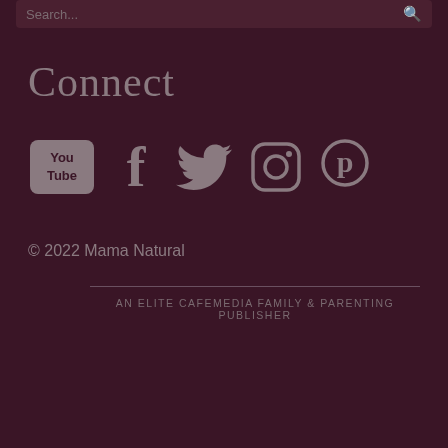Connect
[Figure (other): Row of social media icons: YouTube, Facebook, Twitter, Instagram, Pinterest]
© 2022 Mama Natural
AN ELITE CAFEMEDIA FAMILY & PARENTING PUBLISHER